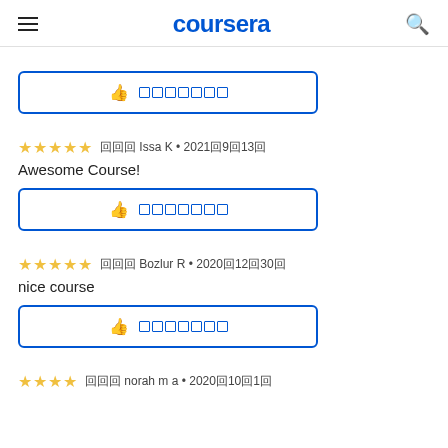coursera
[Figure (other): Helpful thumbs-up button with squares (encoded text)]
★★★★★ 审核 Issa K • 2021年9月13日
Awesome Course!
[Figure (other): Helpful thumbs-up button with squares (encoded text)]
★★★★★ 审核 Bozlur R • 2020年12月30日
nice course
[Figure (other): Helpful thumbs-up button with squares (encoded text)]
★★★★ 审核 norah m a • 2020年10月1日